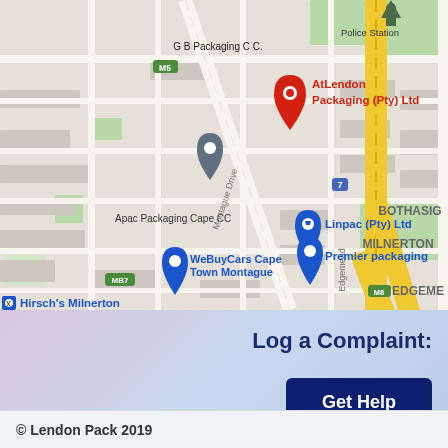[Figure (map): Google Maps screenshot showing AtLendon Packaging (Pty) Ltd location in Milnerton, Cape Town area. Shows surrounding businesses including G B Packaging C C., Apac Packaging Cape CC, Hirsch's Milnerton, Linpac (Pty) Ltd, Premier packaging, WeBuyCars Cape Town Montague. Area labels include BOTHASIG, MILNERTON, EDGEME. Roads include Montague Drive, Edgemea road, highway M5, MB7, M8 markers. Red pin marks AtLendon Packaging (Pty) Ltd.]
Log a Complaint:
Get Help
© Lendon Pack 2019